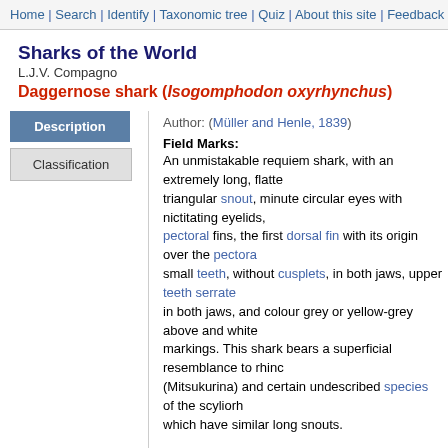Home | Search | Identify | Taxonomic tree | Quiz | About this site | Feedback
Sharks of the World
L.J.V. Compagno
Daggernose shark (Isogomphodon oxyrhynchus)
Author: (Müller and Henle, 1839)
Field Marks:
An unmistakable requiem shark, with an extremely long, flattened triangular snout, minute circular eyes with nictitating eyelids, very large pectoral fins, the first dorsal fin with its origin over the pectoral, small teeth, without cusplets, in both jaws, upper teeth serrated in both jaws, and colour grey or yellow-grey above and white below without markings. This shark bears a superficial resemblance to rhinocodontids (Mitsukurina) and certain undescribed species of the scyliorhincids which have similar long snouts.
Diagnostic Features:
Body fairly stout. Head narrow and flattened but not trowel-shaped, triangular or subtriangular in dorsoventral view and very long, its length greater than internarial space and mouth width; eyes extremely small; no notches; spiracles absent; no papillose gillrakers on internal gill slits; internarial space about 3 times the nostril width; anterior nasal labial furrows short but prominent, essentially confined to mo